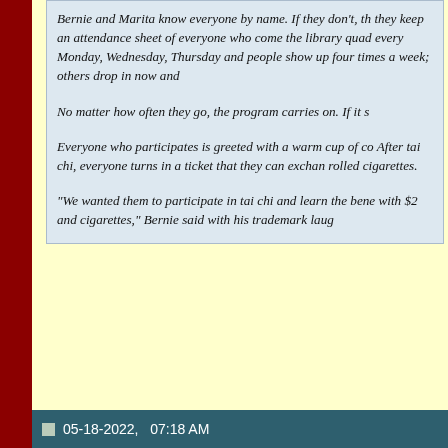Bernie and Marita know everyone by name. If they don't, they keep an attendance sheet of everyone who comes to the library quad every Monday, Wednesday, Thursday and Saturday. Some people show up four times a week; others drop in now and again.
No matter how often they go, the program carries on. If it snows...
Everyone who participates is greeted with a warm cup of coffee or tea. After tai chi, everyone turns in a ticket that they can exchange for... rolled cigarettes.
“We wanted them to participate in tai chi and learn the benefits, not with $2 and cigarettes,” Bernie said with his trademark laugh...
continued next post
Gene Ching
Publisher www.KungFuMagazine.com
Author of Shaolin Trips
Support our forum by getting your gear at MartialArtSmart
05-18-2022,   07:18 AM